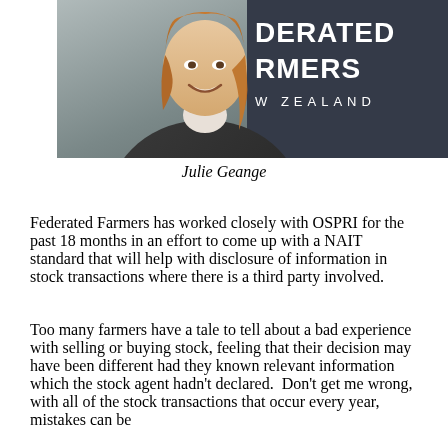[Figure (photo): Professional headshot of a woman in a dark suit jacket smiling, with a Federated Farmers of New Zealand sign/banner visible behind her]
Julie Geange
Federated Farmers has worked closely with OSPRI for the past 18 months in an effort to come up with a NAIT standard that will help with disclosure of information in stock transactions where there is a third party involved.
Too many farmers have a tale to tell about a bad experience with selling or buying stock, feeling that their decision may have been different had they known relevant information which the stock agent hadn't declared.  Don't get me wrong, with all of the stock transactions that occur every year, mistakes can be